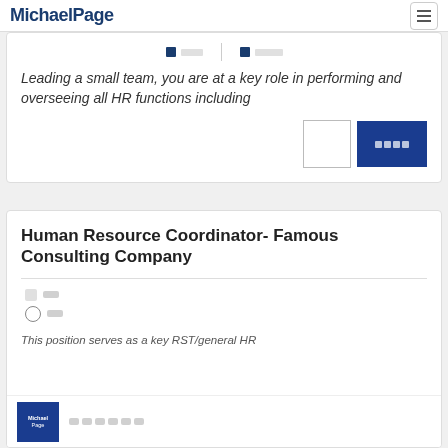MichaelPage
Leading a small team, you are at a key role in performing and overseeing all HR functions including
Human Resource Coordinator- Famous Consulting Company
This position serves as a key RST/general HR